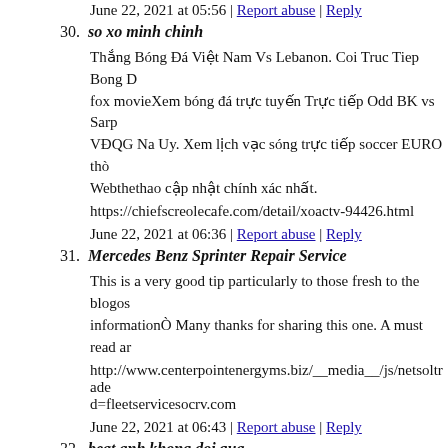June 22, 2021 at 05:56 | Report abuse | Reply
30. so xo minh chinh
Thắng Bóng Đá Việt Nam Vs Lebanon. Coi Truc Tiep Bong D fox movieXem bóng đá trực tuyến Trực tiếp Odd BK vs Sarp VĐQG Na Uy. Xem lịch vạc sóng trực tiếp soccer EURO thò Webthethao cập nhật chính xác nhất.
https://chiefscreolecafe.com/detail/xoactv-94426.html
June 22, 2021 at 06:36 | Report abuse | Reply
31. Mercedes Benz Sprinter Repair Service
This is a very good tip particularly to those fresh to the blogos informationÒ Many thanks for sharing this one. A must read ar
http://www.centerpointenergyms.biz/__media__/js/netsoltrade d=fleetservicesocrv.com
June 22, 2021 at 06:43 | Report abuse | Reply
32. beat anh khong doi qua
Xem Thông Tin Thể Thao đá Bóng 24h Vào Năm 2019võ cực Đội bóng nhận ít thẻ nhất ở Premier League mùa này và dan giải thưởng Fair Play ở mùa giải thứ 5 liên tục. Sau lúc thăn